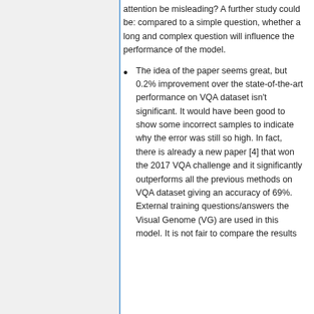attention be misleading? A further study could be: compared to a simple question, whether a long and complex question will influence the performance of the model.
The idea of the paper seems great, but 0.2% improvement over the state-of-the-art performance on VQA dataset isn't significant. It would have been good to show some incorrect samples to indicate why the error was still so high. In fact, there is already a new paper [4] that won the 2017 VQA challenge and it significantly outperforms all the previous methods on VQA dataset giving an accuracy of 69%. External training questions/answers the Visual Genome (VG) are used in this model. It is not fair to compare the results